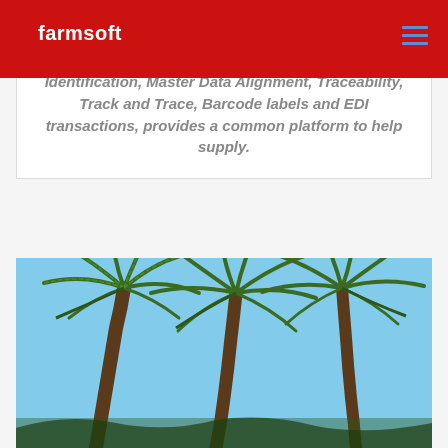farmsoft
Identification, Master Data Alignment, Traceability, Track and Trace, Barcode labels and EDI transactions, provides a common platform to help supply.
[Figure (photo): Palm trees against a blue sky, viewed from below looking up]